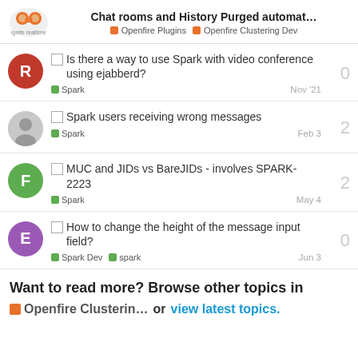Chat rooms and History Purged automat... | Openfire Plugins | Openfire Clustering Dev
Is there a way to use Spark with video conference using ejabberd? | Spark | Nov '21 | 0
Spark users receiving wrong messages | Spark | Feb 3 | 2
MUC and JIDs vs BareJIDs - involves SPARK-2223 | Spark | May 4 | 2
How to change the height of the message input field? | Spark Dev | spark | Jun 3 | 0
Want to read more? Browse other topics in Openfire Clusterin… or view latest topics.